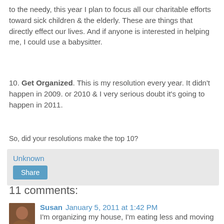to the needy, this year I plan to focus all our charitable efforts toward sick children & the elderly.  These are things that directly effect our lives.  And if anyone is interested in helping me, I could use a babysitter.
10. Get Organized.  This is my resolution every year.  It didn't happen in 2009. or 2010 & I very serious doubt it's going to happen in 2011.
So, did your resolutions make the top 10?
Unknown
Share
11 comments:
Susan  January 5, 2011 at 1:42 PM
I'm organizing my house, I'm eating less and moving